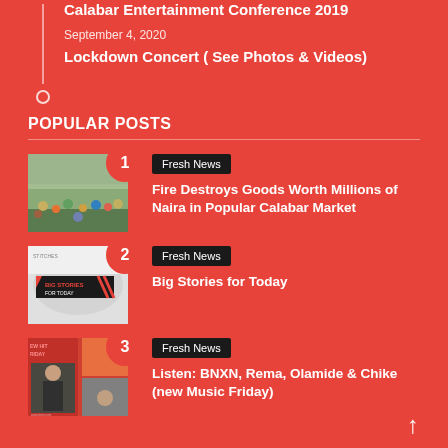Calabar Entertainment Conference 2019
September 4, 2020
Lockdown Concert ( See Photos & Videos)
POPULAR POSTS
[Figure (photo): Crowd photo with number 1 badge]
Fresh News
Fire Destroys Goods Worth Millions of Naira in Popular Calabar Market
[Figure (photo): Big Stories for Today graphic with number 2 badge]
Fresh News
Big Stories for Today
[Figure (photo): New Hit Friday graphic with number 3 badge]
Fresh News
Listen: BNXN, Rema, Olamide & Chike (new Music Friday)